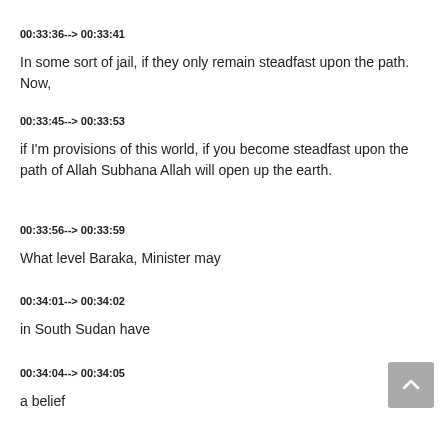00:33:36--> 00:33:41
In some sort of jail, if they only remain steadfast upon the path. Now,
00:33:45--> 00:33:53
if I'm provisions of this world, if you become steadfast upon the path of Allah Subhana Allah will open up the earth.
00:33:56--> 00:33:59
What level Baraka, Minister may
00:34:01--> 00:34:02
in South Sudan have
00:34:04--> 00:34:05
a belief